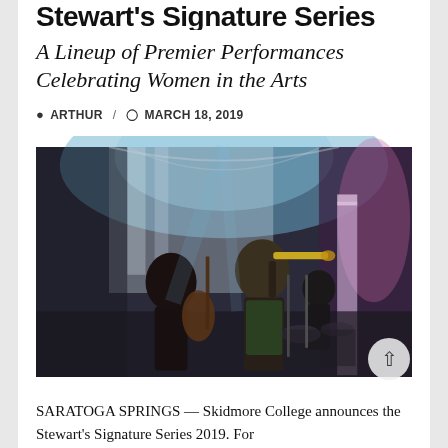Stewart's Signature Series 2019
A Lineup of Premier Performances Celebrating Women in the Arts
ARTHUR / MARCH 18, 2019
[Figure (photo): Musicians performing on stage in an ornate hall with blue and purple lighting. A woman plays trumpet in center, another plays upright bass on left, a drummer is in background. Classical white columns and arched ceilings visible.]
SARATOGA SPRINGS — Skidmore College announces the Stewart's Signature Series 2019. For